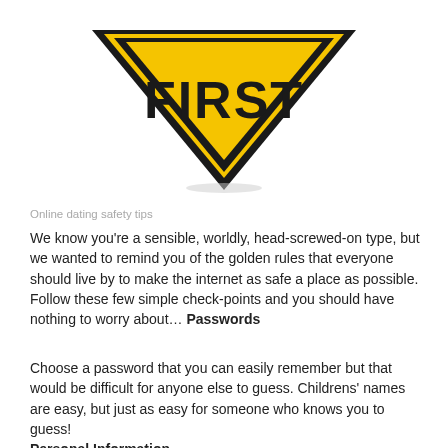[Figure (illustration): Yellow inverted diamond warning sign with bold black border and the word FIRST in large bold black text, partially cropped at top, with a subtle drop shadow at the bottom]
Online dating safety tips
We know you’re a sensible, worldly, head-screwed-on type, but we wanted to remind you of the golden rules that everyone should live by to make the internet as safe a place as possible. Follow these few simple check-points and you should have nothing to worry about… Passwords
Choose a password that you can easily remember but that would be difficult for anyone else to guess. Childrens’ names are easy, but just as easy for someone who knows you to guess! Personal Information